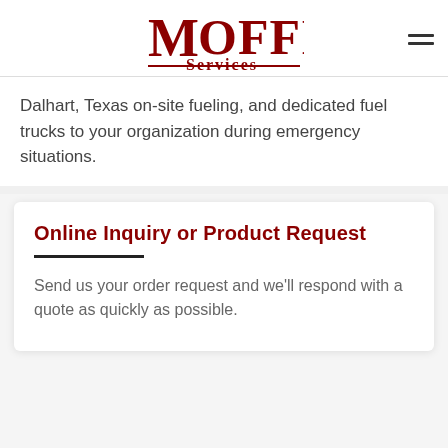Moffitt Services
Dalhart, Texas on-site fueling, and dedicated fuel trucks to your organization during emergency situations.
Online Inquiry or Product Request
Send us your order request and we'll respond with a quote as quickly as possible.